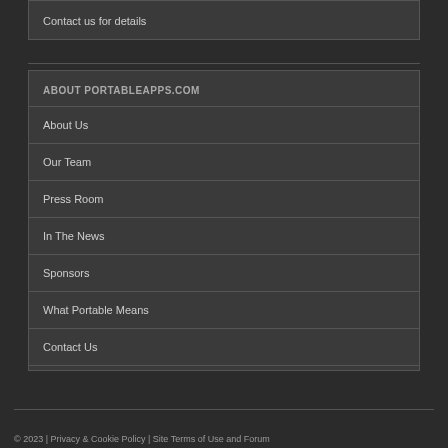Contact us for details
ABOUT PORTABLEAPPS.COM
About Us
Our Team
Press Room
In The News
Sponsors
What Portable Means
Contact Us
© 2023 | Privacy & Cookie Policy | Site Terms of Use and Forum